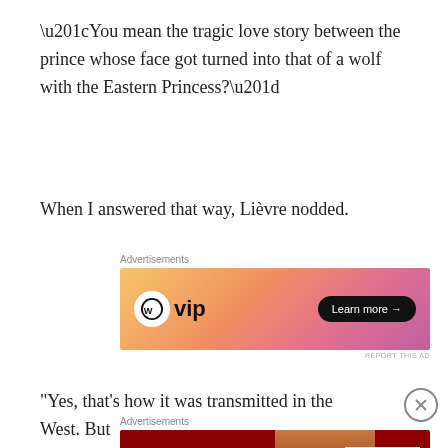“You mean the tragic love story between the prince whose face got turned into that of a wolf with the Eastern Princess?”
When I answered that way, Lièvre nodded.
[Figure (other): WordPress VIP advertisement banner with orange-pink gradient background. Shows WordPress circle logo with 'vip' text and a 'Learn more →' button.]
“Yes, that’s how it was transmitted in the West. But
[Figure (other): Macy's advertisement: dark red background with 'KISS BORING LIPS GOODBYE' text, woman's face with red lips, SHOP NOW button and Macy's star logo.]